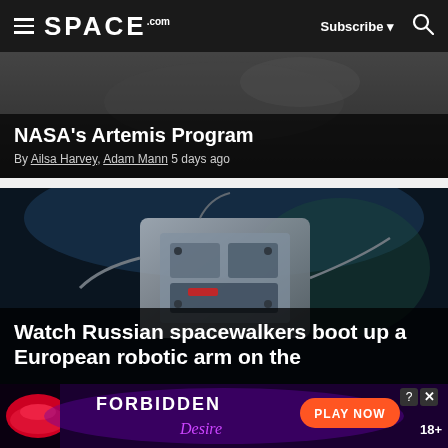SPACE.com | Subscribe | Search
NASA's Artemis Program
By Ailsa Harvey, Adam Mann 5 days ago
[Figure (photo): Space hardware / robotic arm photo with dark background]
Watch Russian spacewalkers boot up a European robotic arm on the
[Figure (photo): Advertisement banner: FORBIDDEN Desire — PLAY NOW 18+]